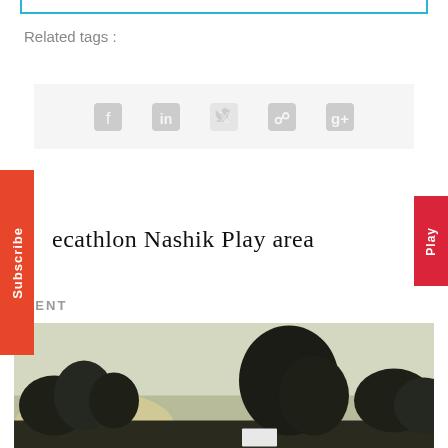Related tags :
[Figure (infographic): Social sharing icons row: Facebook, LinkedIn, Twitter, Pinterest, Google+ on light gray background]
Subscribe
Play
ecathlon Nashik Play area
EVENT
[Figure (photo): Outdoor photo showing trees and open sky at dusk/sunset, with a white signboard visible among the trees]